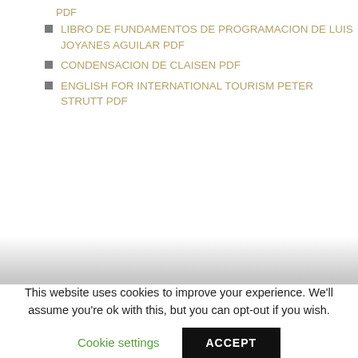PDF
LIBRO DE FUNDAMENTOS DE PROGRAMACION DE LUIS JOYANES AGUILAR PDF
CONDENSACION DE CLAISEN PDF
ENGLISH FOR INTERNATIONAL TOURISM PETER STRUTT PDF
This website uses cookies to improve your experience. We'll assume you're ok with this, but you can opt-out if you wish.
Cookie settings
ACCEPT